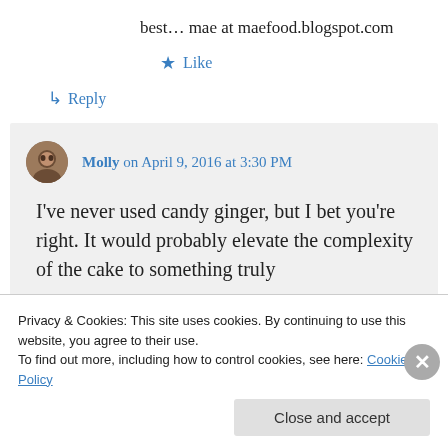best… mae at maefood.blogspot.com
★ Like
↳ Reply
Molly on April 9, 2016 at 3:30 PM
I've never used candy ginger, but I bet you're right. It would probably elevate the complexity of the cake to something truly
Privacy & Cookies: This site uses cookies. By continuing to use this website, you agree to their use.
To find out more, including how to control cookies, see here: Cookie Policy
Close and accept